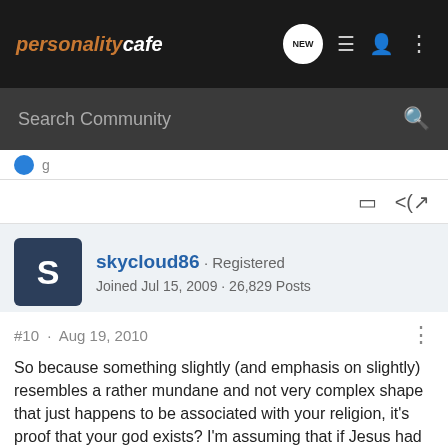personalitycafe
Search Community
skycloud86 · Registered
Joined Jul 15, 2009 · 26,829 Posts
#10 · Aug 19, 2010
So because something slightly (and emphasis on slightly) resembles a rather mundane and not very complex shape that just happens to be associated with your religion, it's proof that your god exists? I'm assuming that if Jesus had lived in modern times, laminins would look like a gun or a lethal injection chamber?